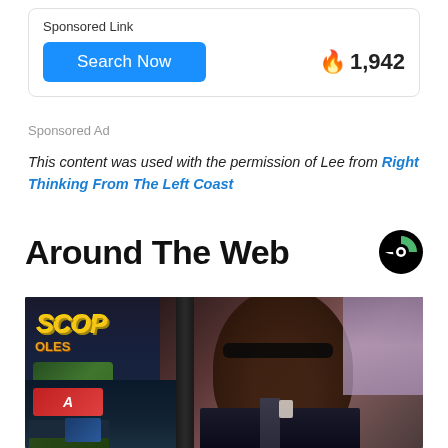Sponsored Link
Search Now
🔥 1,942
Sponsored Ad
This content was used with the permission of Lee from Right Thinking From The Left Coast
Around The Web
[Figure (photo): A man wearing glasses and a suit standing in front of a casino slot machine screen showing the word 'SCOP'. The background has purple tones suggesting a casino environment.]